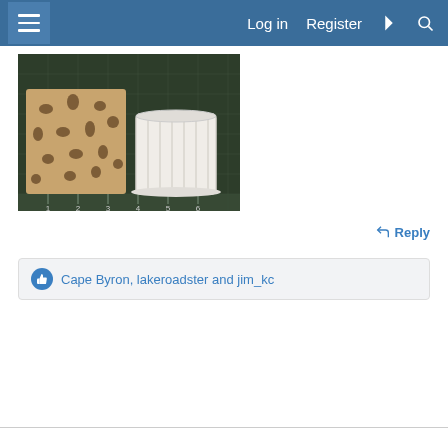Log in   Register
[Figure (photo): Photo of two objects on a cutting mat with ruler markings: a tan/beige cylindrical mesh/perforated basket on the left, and a white ribbed small cup/pot on the right. The background is a dark green self-healing cutting mat with grid lines and inch markings visible.]
↩ Reply
Cape Byron, lakeroadster and jim_kc